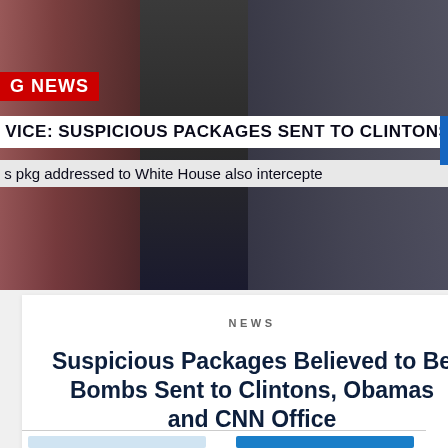[Figure (screenshot): CNN Breaking News broadcast screenshot showing two news anchors at a desk, with a red BREAKING NEWS banner and white ticker bars showing headlines about suspicious packages sent to Clintons and Obamas]
NEWS
Suspicious Packages Believed to Be Bombs Sent to Clintons, Obamas and CNN Office
TRÉ GOINS-PHILLIPS